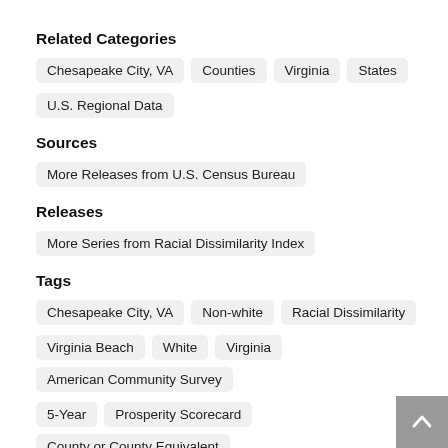Related Categories
Chesapeake City, VA
Counties
Virginia
States
U.S. Regional Data
Sources
More Releases from U.S. Census Bureau
Releases
More Series from Racial Dissimilarity Index
Tags
Chesapeake City, VA
Non-white
Racial Dissimilarity
Virginia Beach
White
Virginia
American Community Survey
5-Year
Prosperity Scorecard
County or County Equivalent
Census
Annual
Public Domain: Citation Requested
Not Seasonally Adjusted
United States of America